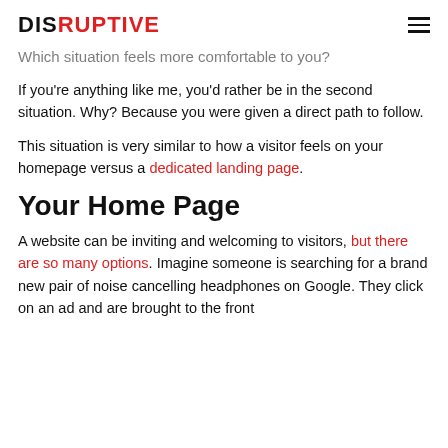DISRUPTIVE
Which situation feels more comfortable to you?
If you're anything like me, you'd rather be in the second situation. Why? Because you were given a direct path to follow.
This situation is very similar to how a visitor feels on your homepage versus a dedicated landing page.
Your Home Page
A website can be inviting and welcoming to visitors, but there are so many options. Imagine someone is searching for a brand new pair of noise cancelling headphones on Google. They click on an ad and are brought to the front